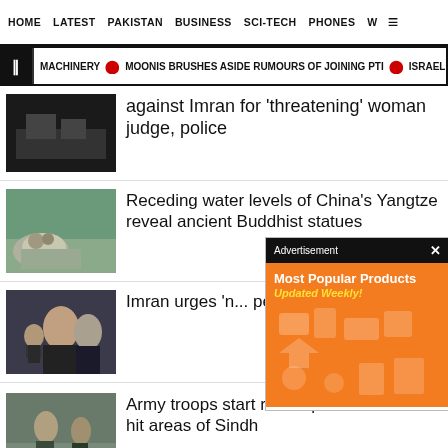HOME  LATEST  PAKISTAN  BUSINESS  SCI-TECH  PHONES  W ☰
▐ MACHINERY  ● MOONIS BRUSHES ASIDE RUMOURS OF JOINING PTI  ● ISRAELI F
against Imran for 'threatening' woman judge, police
Receding water levels of China's Yangtze reveal ancient Buddhist statues
Imran urges 'n... people instead...
[Figure (other): Advertisement overlay: Most Popular Products Updated Weekly! with orange background and product icons]
Army troops start relief operations in rain-hit areas of Sindh